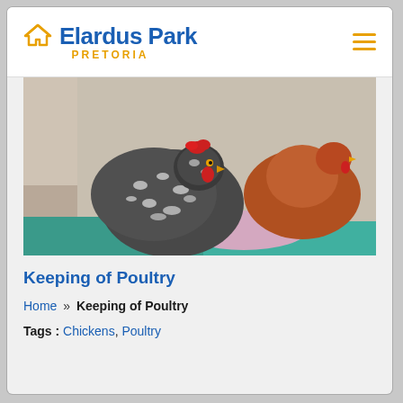Elardus Park PRETORIA
[Figure (photo): Two chickens — one black-and-white speckled hen and one brown/russet hen — sitting on teal and pink towels/fabric inside what appears to be a box or nesting area.]
Keeping of Poultry
Home » Keeping of Poultry
Tags : Chickens, Poultry